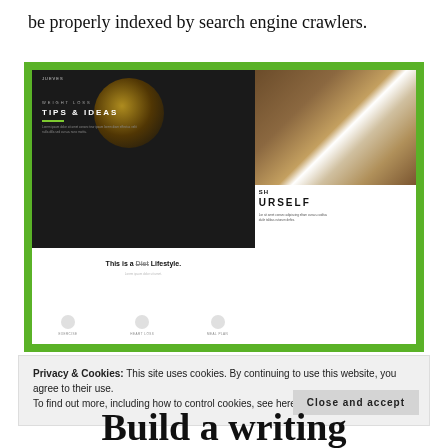be properly indexed by search engine crawlers.
[Figure (screenshot): Screenshot of a website about weight loss tips and ideas with a dark panel showing 'WEIGHT LOSS TIPS & IDEAS', food photography, and lifestyle content on a green background.]
Privacy & Cookies: This site uses cookies. By continuing to use this website, you agree to their use.
To find out more, including how to control cookies, see here: Cookie Policy
Close and accept
Build a writing